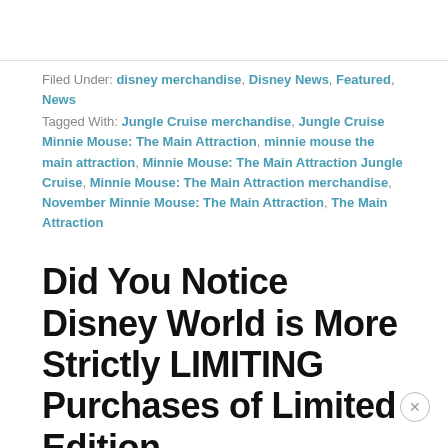Filed Under: disney merchandise, Disney News, Featured, News
Tagged With: Jungle Cruise merchandise, Jungle Cruise Minnie Mouse: The Main Attraction, minnie mouse the main attraction, Minnie Mouse: The Main Attraction Jungle Cruise, Minnie Mouse: The Main Attraction merchandise, November Minnie Mouse: The Main Attraction, The Main Attraction
Did You Notice Disney World is More Strictly LIMITING Purchases of Limited Edition Merchandise?
By Quincy Stanford — 1 Comment
Limited edition merchandise is typically in very high